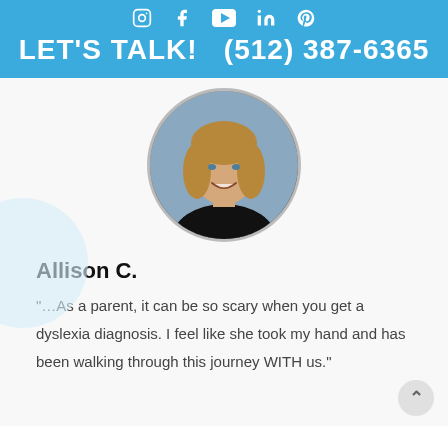LET'S TALK!  (512) 387-6365
[Figure (photo): Circular profile photo of a smiling woman with shoulder-length blonde hair wearing a black top, with a blurred background]
Allison C.
“…As a parent, it can be so scary when you get a dyslexia diagnosis. I feel like she took my hand and has been walking through this journey WITH us.”